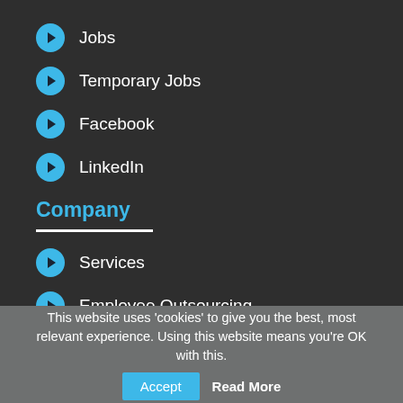Jobs
Temporary Jobs
Facebook
LinkedIn
Company
Services
Employee Outsourcing
Graduate Services
Contact Info
This website uses 'cookies' to give you the best, most relevant experience. Using this website means you're OK with this.  Accept  Read More